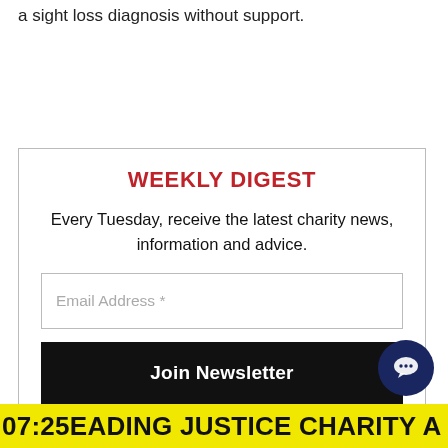a sight loss diagnosis without support.
WEEKLY DIGEST
Every Tuesday, receive the latest charity news, information and advice.
Email Address *
Join Newsletter
07:25  EADING JUSTICE CHARITY A